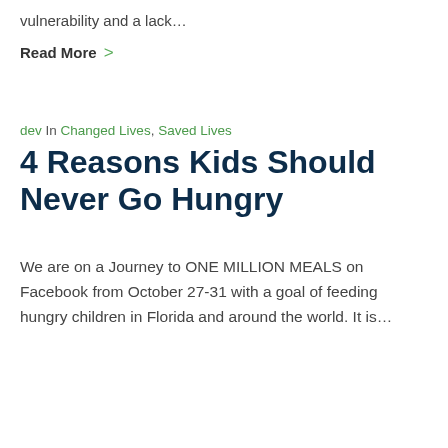vulnerability and a lack…
Read More >
dev In Changed Lives, Saved Lives
4 Reasons Kids Should Never Go Hungry
We are on a Journey to ONE MILLION MEALS on Facebook from October 27-31 with a goal of feeding hungry children in Florida and around the world. It is…